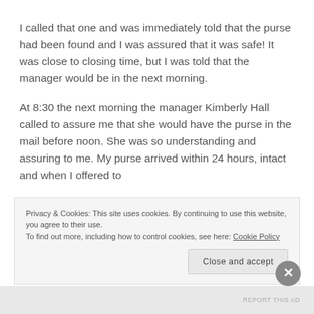I called that one and was immediately told that the purse had been found and I was assured that it was safe! It was close to closing time, but I was told that the manager would be in the next morning.
At 8:30 the next morning the manager Kimberly Hall called to assure me that she would have the purse in the mail before noon. She was so understanding and assuring to me. My purse arrived within 24 hours, intact and when I offered to
Privacy & Cookies: This site uses cookies. By continuing to use this website, you agree to their use.
To find out more, including how to control cookies, see here: Cookie Policy
Close and accept
REPORT THIS AD